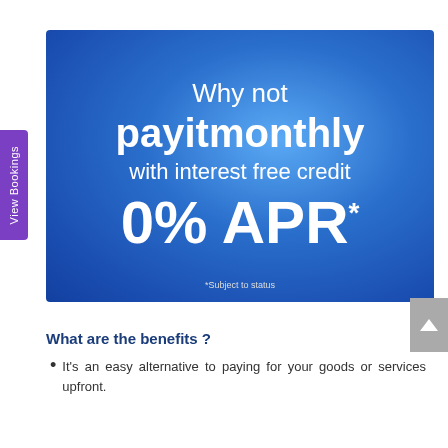[Figure (infographic): Blue gradient banner promoting 'payitmonthly' interest free credit at 0% APR. Text reads: 'Why not payitmonthly with interest free credit 0% APR*'. Small footnote at bottom: '*Subject to status'.]
What are the benefits ?
It's an easy alternative to paying for your goods or services upfront.